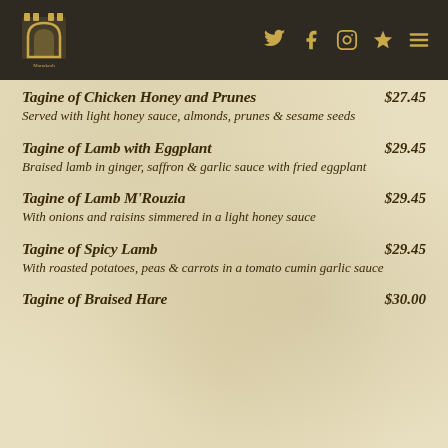[Figure (logo): Restaurant logo with castle/arch icon and social media icons (Twitter, Facebook, Instagram, Yelp, menu) on dark brown header bar]
Tagine of Chicken Honey and Prunes $27.45 — Served with light honey sauce, almonds, prunes & sesame seeds
Tagine of Lamb with Eggplant $29.45 — Braised lamb in ginger, saffron & garlic sauce with fried eggplant
Tagine of Lamb M'Rouzia $29.45 — With onions and raisins simmered in a light honey sauce
Tagine of Spicy Lamb $29.45 — With roasted potatoes, peas & carrots in a tomato cumin garlic sauce
Tagine of Braised Hare $30.00